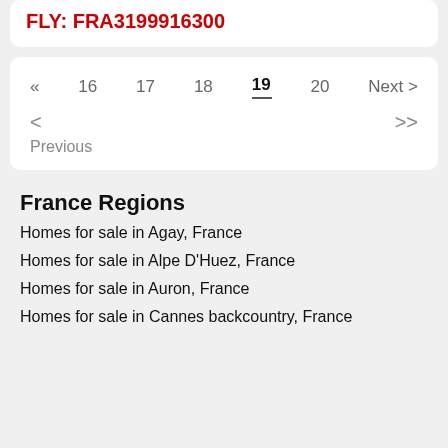FLY: FRA3199916300
« 16 17 18 19 20 Next >
< >> Previous
France Regions
Homes for sale in Agay, France
Homes for sale in Alpe D'Huez, France
Homes for sale in Auron, France
Homes for sale in Cannes backcountry, France